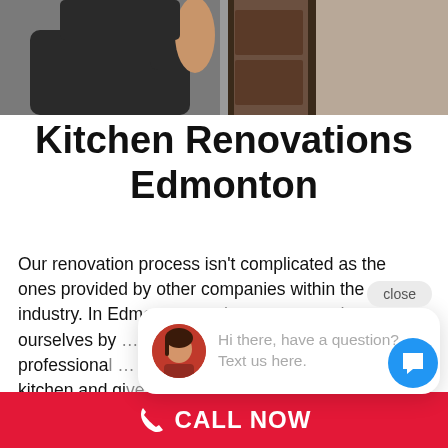[Figure (photo): Photo of a person standing near dark wooden cabinet/door, visible from shoulders down, in a kitchen or closet setting]
Kitchen Renovations Edmonton
Our renovation process isn't complicated as the ones provided by other companies within the industry. In Edmonton, we have separated ourselves by providing a premium renovation service for your kitchen. Our kitchen remodeling a professional primary focus is making over your kitchen and give it a new meaning through unique designs.
[Figure (screenshot): Chat widget popup showing avatar of a woman and text: Hi there, have a question? Text us here. With a close button above.]
CALL NOW